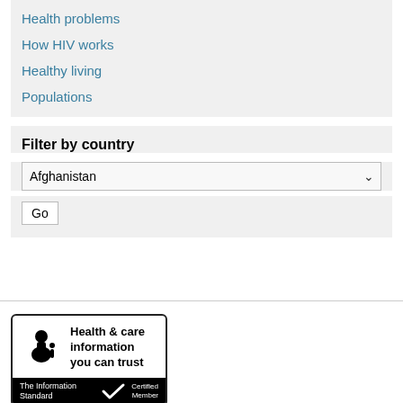Health problems
How HIV works
Healthy living
Populations
Filter by country
Afghanistan
Go
[Figure (logo): The Information Standard badge: Health & care information you can trust. Certified Member.]